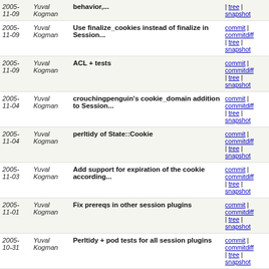| Date | Author | Message | Links |
| --- | --- | --- | --- |
| 2005-11-09 | Yuval Kogman | behavior,... | commit | commitdiff | tree | snapshot |
| 2005-11-09 | Yuval Kogman | Use finalize_cookies instead of finalize in Session... | commit | commitdiff | tree | snapshot |
| 2005-11-09 | Yuval Kogman | ACL + tests | commit | commitdiff | tree | snapshot |
| 2005-11-04 | Yuval Kogman | crouchingpenguin's cookie_domain addition to Session... | commit | commitdiff | tree | snapshot |
| 2005-11-04 | Yuval Kogman | perltidy of State::Cookie | commit | commitdiff | tree | snapshot |
| 2005-11-03 | Yuval Kogman | Add support for expiration of the cookie according... | commit | commitdiff | tree | snapshot |
| 2005-11-01 | Yuval Kogman | Fix prereqs in other session plugins | commit | commitdiff | tree | snapshot |
| 2005-10-31 | Yuval Kogman | Perltidy + pod tests for all session plugins | commit | commitdiff | tree | snapshot |
| 2005-10-31 | Yuval Kogman | Catalyst::Plugin::Session::State::Cookie - doc cleanup... | commit | commitdiff | tree | snapshot |
| 2005-10-31 | Yuval Kogman | Releng, test fixes, bug fixes for Session plugins | commit | commitdiff | tree | snapshot |
| 2005-10-29 | Yuval Kogman | releng of session stuff | commit | commitdiff | tree | snapshot |